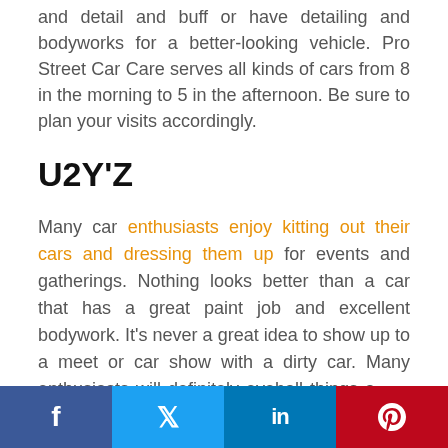and detail and buff or have detailing and bodyworks for a better-looking vehicle. Pro Street Car Care serves all kinds of cars from 8 in the morning to 5 in the afternoon. Be sure to plan your visits accordingly.
U2Y'Z
Many car enthusiasts enjoy kitting out their cars and dressing them up for events and gatherings. Nothing looks better than a car that has a great paint job and excellent bodywork. It's never a great idea to show up to a meet or car show with a dirty car. Many enthusiasts will definitely eyeball things about the one driving it. You'll want to be ready fo...